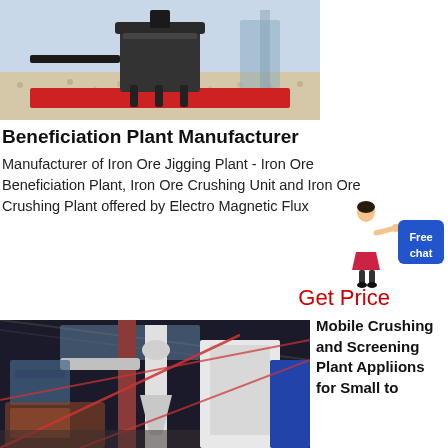[Figure (photo): Industrial mining/jigging equipment on a red base with gravel surface in a factory setting]
Beneficiation Plant Manufacturer
Manufacturer of Iron Ore Jigging Plant - Iron Ore Beneficiation Plant, Iron Ore Crushing Unit and Iron Ore Crushing Plant offered by Electro Magnetic Flux
[Figure (illustration): Female figure (chatbot avatar) in white outfit pointing, next to a blue 'Free chat' button]
Get Price
[Figure (photo): Mobile crushing and screening plant industrial equipment inside a large factory building]
Mobile Crushing and Screening Plant Appliions for Small to